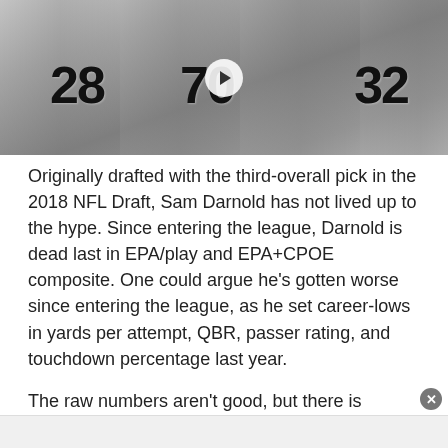[Figure (photo): Football players in white jerseys with numbers 28, 70, and 32 visible, with a video play button overlay in the center]
Originally drafted with the third-overall pick in the 2018 NFL Draft, Sam Darnold has not lived up to the hype. Since entering the league, Darnold is dead last in EPA/play and EPA+CPOE composite. One could argue he's gotten worse since entering the league, as he set career-lows in yards per attempt, QBR, passer rating, and touchdown percentage last year.
The raw numbers aren't good, but there is reason to